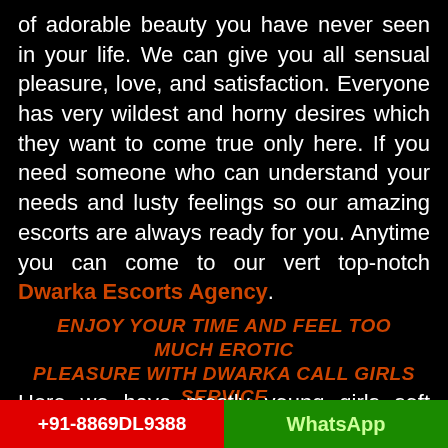of adorable beauty you have never seen in your life. We can give you all sensual pleasure, love, and satisfaction. Everyone has very wildest and horny desires which they want to come true only here. If you need someone who can understand your needs and lusty feelings so our amazing escorts are always ready for you. Anytime you can come to our vert top-notch Dwarka Escorts Agency.
ENJOY YOUR TIME AND FEEL TOO MUCH EROTIC PLEASURE WITH DWARKA CALL GIRLS SERVICE
Here we have mostly young girls soft chicks
+91-8869DL9388   WhatsApp